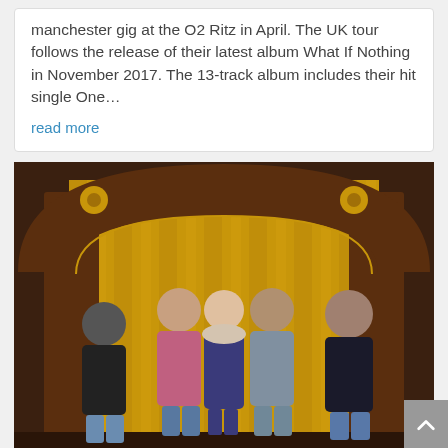manchester gig at the O2 Ritz in April. The UK tour follows the release of their latest album What If Nothing in November 2017.  The 13-track album includes their hit single One…
read more
[Figure (photo): Five band members (four men and one woman) standing in front of an ornate wooden arch with gold/yellow striped curtain or wallpaper backdrop. The woman is in the center wearing a navy dress with a fur-collar jacket. The men wear casual clothing — jeans, button shirts, jackets.]